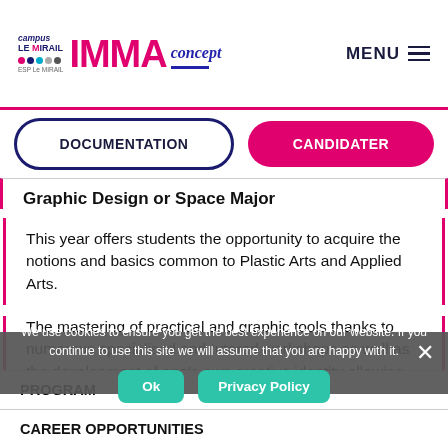Campus Le Mirail IMMA concept ESP Le MIRAIL — MENU
DOCUMENTATION
CANDIDATER
Graphic Design or Space Major
This year offers students the opportunity to acquire the notions and basics common to Plastic Arts and Applied Arts.
The mastering of practical and graphic tools thanks to numerous specialised and tutored workshops as well as the development of one's own creative identity allowing one to fine-tune the choice of their path.
| PROGRAM |
| CAREER OPPORTUNITIES |
We use cookies to ensure you get the best experience on our website. If you continue to use this site we will assume that you are happy with it.
Ok
Privacy Policy